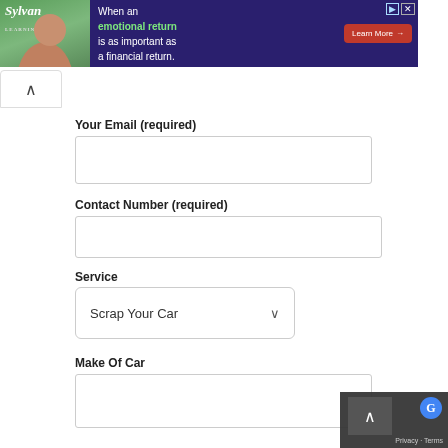[Figure (screenshot): Sylvan Learning banner advertisement with purple background, photo of smiling woman, text 'When an emotional return is as important as a financial return.' and 'Learn More' button]
Your Email (required)
Contact Number (required)
Service
Scrap Your Car
Make Of Car